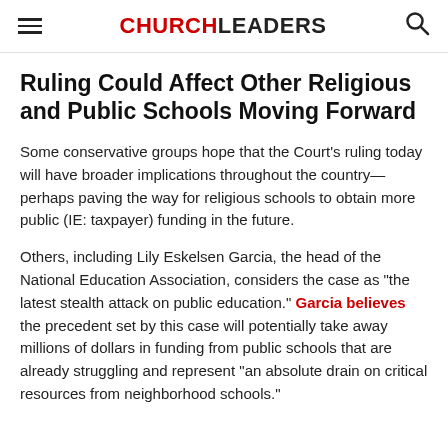CHURCHLEADERS
Ruling Could Affect Other Religious and Public Schools Moving Forward
Some conservative groups hope that the Court’s ruling today will have broader implications throughout the country—perhaps paving the way for religious schools to obtain more public (IE: taxpayer) funding in the future.
Others, including Lily Eskelsen Garcia, the head of the National Education Association, considers the case as “the latest stealth attack on public education.” Garcia believes the precedent set by this case will potentially take away millions of dollars in funding from public schools that are already struggling and represent “an absolute drain on critical resources from neighborhood schools.”